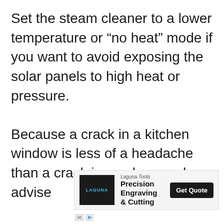Set the steam cleaner to a lower temperature or “no heat” mode if you want to avoid exposing the solar panels to high heat or pressure.

Because a crack in a kitchen window is less of a headache than a crack in a solar panel, we advise
[Figure (other): Advertisement banner for Laguna Tools featuring dark logo with LAGUNA text, product name 'Precision Engraving & Cutting', and a 'Get Quote' button]